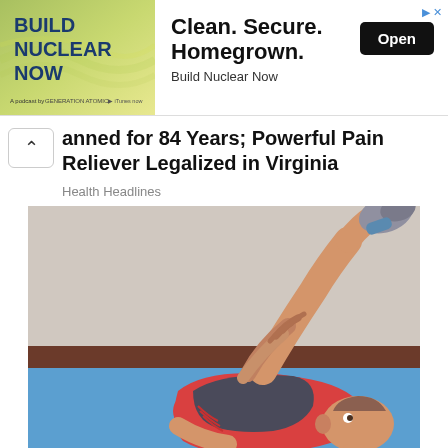[Figure (infographic): Advertisement banner for 'Build Nuclear Now' — left side shows a green/yellow stylized nuclear graphic with bold white text 'BUILD NUCLEAR NOW', right side shows text 'Clean. Secure. Homegrown.' with subtitle 'Build Nuclear Now' and a black 'Open' button.]
anned for 84 Years; Powerful Pain Reliever Legalized in Virginia
Health Headlines
[Figure (illustration): Illustration of a person lying on their back on a blue exercise mat, wearing a red shirt and dark shorts, performing a supine leg-raise stretch — one leg raised straight up, hands gripping the leg, head resting on the floor.]